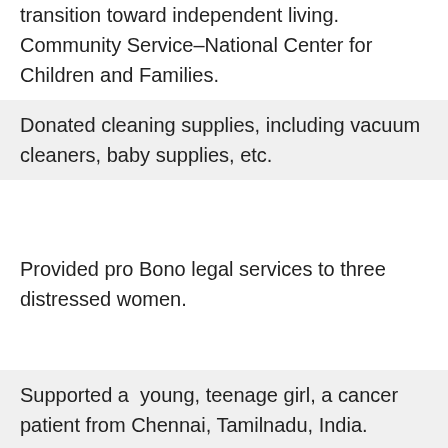transition toward independent living.  Community Service–National Center for Children and Families.
Donated cleaning supplies, including vacuum cleaners, baby supplies, etc.
Provided pro Bono legal services to three distressed women.
Supported a  young, teenage girl, a cancer patient from Chennai, Tamilnadu, India.
Provided career training for a young Sri